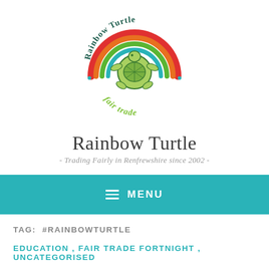[Figure (logo): Rainbow Turtle Fair Trade logo: circular logo with a turtle illustration in the center, rainbow arc above in red/orange/green/teal, text 'Rainbow Turtle' curved around the top in dark teal, 'fair trade' in green at the bottom, blue dots on sides]
Rainbow Turtle
- Trading Fairly in Renfrewshire since 2002 -
☰ MENU
TAG: #RAINBOWTURTLE
EDUCATION, FAIR TRADE FORTNIGHT, UNCATEGORISED